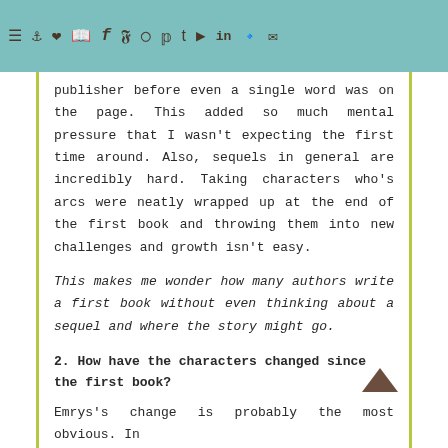solely for me. ALL THAT BURNS was the first book I'd ever written where it had sold to the publisher before even a single word was on the page.
publisher before even a single word was on the page. This added so much mental pressure that I wasn't expecting the first time around. Also, sequels in general are incredibly hard. Taking characters who's arcs were neatly wrapped up at the end of the first book and throwing them into new challenges and growth isn't easy.
This makes me wonder how many authors write a first book without even thinking about a sequel and where the story might go.
2. How have the characters changed since the first book?
Emrys's change is probably the most obvious. In